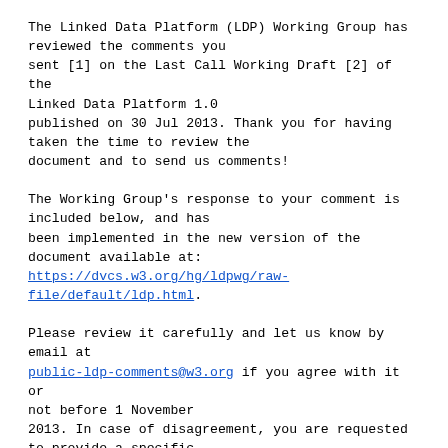The Linked Data Platform (LDP) Working Group has reviewed the comments you sent [1] on the Last Call Working Draft [2] of the Linked Data Platform 1.0 published on 30 Jul 2013. Thank you for having taken the time to review the document and to send us comments!

The Working Group's response to your comment is included below, and has been implemented in the new version of the document available at: https://dvcs.w3.org/hg/ldpwg/raw-file/default/ldp.html.

Please review it carefully and let us know by email at public-ldp-comments@w3.org if you agree with it or not before 1 November 2013. In case of disagreement, you are requested to provide a specific solution for or a path to a consensus with the Working Group. If such a consensus cannot be achieved, you will be given the opportunity to raise a formal objection which will then be reviewed by the Director during the transition of this document to the next stage in the W3C Recommendation...